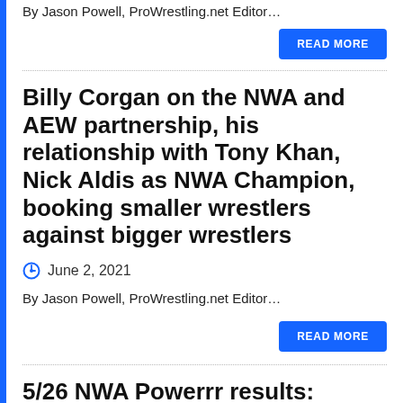By Jason Powell, ProWrestling.net Editor…
READ MORE
Billy Corgan on the NWA and AEW partnership, his relationship with Tony Khan, Nick Aldis as NWA Champion, booking smaller wrestlers against bigger wrestlers
June 2, 2021
By Jason Powell, ProWrestling.net Editor…
READ MORE
5/26 NWA Powerrr results: Powell's